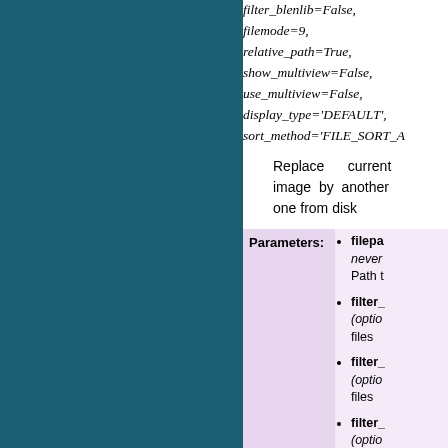filter_blenlib=False, filemode=9, relative_path=True, show_multiview=False, use_multiview=False, display_type='DEFAULT', sort_method='FILE_SORT_...
Replace current image by another one from disk
| Parameters: |  |
| --- | --- |
|  | filepath (never) – Path t... |
|  | filter_ (optio...) – files |
|  | filter_ (optio...) – files |
|  | filter_ (optio...) – files |